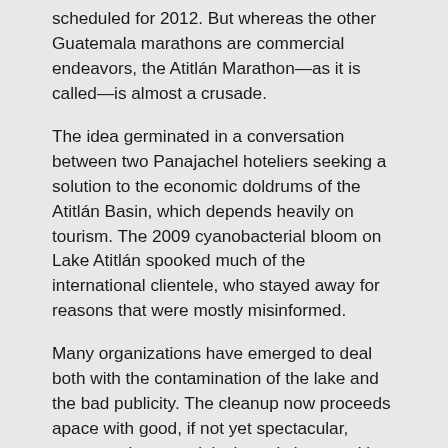scheduled for 2012. But whereas the other Guatemala marathons are commercial endeavors, the Atitlán Marathon—as it is called—is almost a crusade.
The idea germinated in a conversation between two Panajachel hoteliers seeking a solution to the economic doldrums of the Atitlán Basin, which depends heavily on tourism. The 2009 cyanobacterial bloom on Lake Atitlán spooked much of the international clientele, who stayed away for reasons that were mostly misinformed.
Many organizations have emerged to deal both with the contamination of the lake and the bad publicity. The cleanup now proceeds apace with good, if not yet spectacular, progress, because it is the only issue uniting every constituency: Maya, ladino, expatriate, volunteer and tourist.